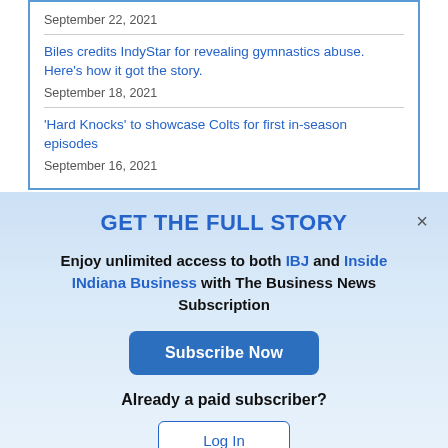September 22, 2021
Biles credits IndyStar for revealing gymnastics abuse. Here's how it got the story.
September 18, 2021
'Hard Knocks' to showcase Colts for first in-season episodes
September 16, 2021
GET THE FULL STORY
Enjoy unlimited access to both IBJ and Inside INdiana Business with The Business News Subscription
Subscribe Now
Already a paid subscriber?
Log In